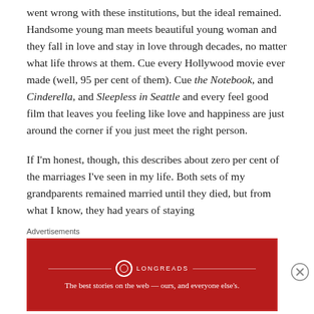went wrong with these institutions, but the ideal remained. Handsome young man meets beautiful young woman and they fall in love and stay in love through decades, no matter what life throws at them. Cue every Hollywood movie ever made (well, 95 per cent of them). Cue the Notebook, and Cinderella, and Sleepless in Seattle and every feel good film that leaves you feeling like love and happiness are just around the corner if you just meet the right person.
If I'm honest, though, this describes about zero per cent of the marriages I've seen in my life. Both sets of my grandparents remained married until they died, but from what I know, they had years of staying
Advertisements
[Figure (other): Longreads advertisement banner in dark red with logo and tagline: The best stories on the web — ours, and everyone else's.]